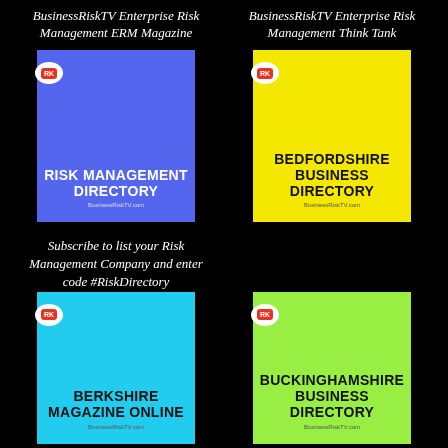BusinessRiskTV Enterprise Risk Management ERM Magazine
BusinessRiskTV Enterprise Risk Management Think Tank
[Figure (logo): Blue card with white text: RISK MANAGEMENT DIRECTORY, BusinessRiskTV.com logo]
[Figure (logo): Yellow card with black text: BEDFORDSHIRE BUSINESS DIRECTORY, BusinessRiskTV.com logo]
Subscribe to list your Risk Management Company and enter code #RiskDirectory
[Figure (logo): Cyan card with dark text: BERKSHIRE MAGAZINE ONLINE, BusinessRiskTV.com logo]
[Figure (logo): Green card with dark text: BUCKINGHAMSHIRE BUSINESS DIRECTORY, BusinessRiskTV.com logo]